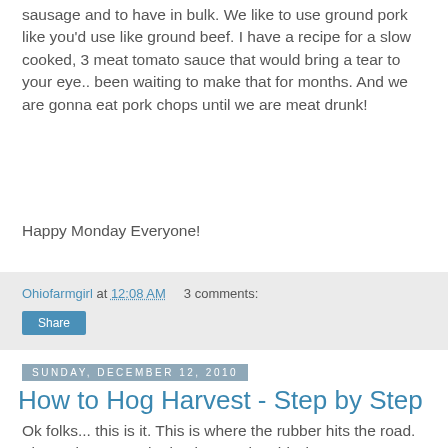sausage and to have in bulk. We like to use ground pork like you'd use like ground beef. I have a recipe for a slow cooked, 3 meat tomato sauce that would bring a tear to your eye.. been waiting to make that for months.  And we are gonna eat pork chops until we are meat drunk!
Happy Monday Everyone!
Ohiofarmgirl at 12:08 AM   3 comments:
Share
Sunday, December 12, 2010
How to Hog Harvest - Step by Step
Ok folks... this is it. This is where the rubber hits the road. The real McCoy. The business. The shizzle.... I'm intentionally posting this at nite and will follow with another post promptly after midnight my time. We've got some detailed pix here of "how to hog harvest" and sometimes you